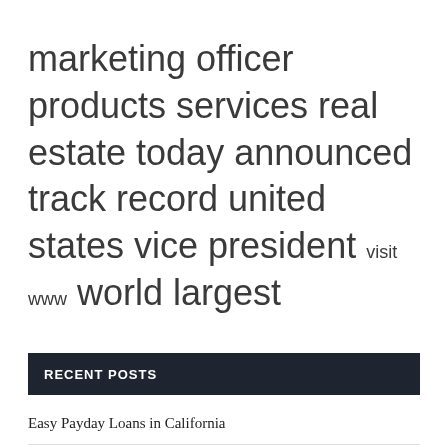marketing officer products services real estate today announced track record united states vice president visit www world largest
RECENT POSTS
Easy Payday Loans in California
Genuine Marketing Group Inc. Appoints Industry-Leading Chief Marketing Officer
Millennium Trust Appoints New Marketing Director | Region
Sharia financial products can reduce investment risk for MSMEs: Sri